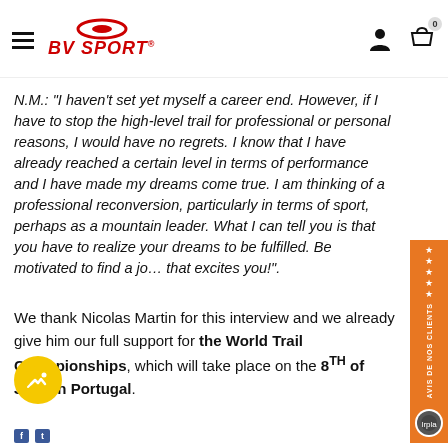BV SPORT
N.M.: "I haven't set yet myself a career end. However, if I have to stop the high-level trail for professional or personal reasons, I would have no regrets. I know that I have already reached a certain level in terms of performance and I have made my dreams come true. I am thinking of a professional reconversion, particularly in terms of sport, perhaps as a mountain leader. What I can tell you is that you have to realize your dreams to be fulfilled. Be motivated to find a job that excites you!".
We thank Nicolas Martin for this interview and we already give him our full support for the World Trail Championships, which will take place on the 8TH of June in Portugal.
You can follow Nicolas Martin on Facebook @nicolasmartintrail and on Instagram @nico_martin_trail.